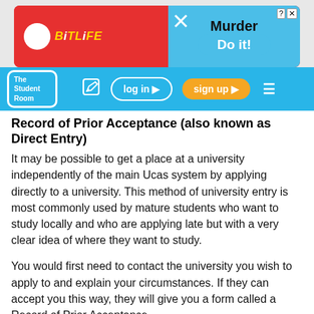[Figure (screenshot): BitLife game advertisement banner — red background on left with BitLife logo, blue section on right with 'Murder' text and 'Do it!' button]
[Figure (screenshot): The Student Room website navigation bar with logo, edit icon, log in button, sign up button, and hamburger menu]
Record of Prior Acceptance (also known as Direct Entry)
It may be possible to get a place at a university independently of the main Ucas system by applying directly to a university. This method of university entry is most commonly used by mature students who want to study locally and who are applying late but with a very clear idea of where they want to study.
You would first need to contact the university you wish to apply to and explain your circumstances. If they can accept you this way, they will give you a form called a Record of Prior Acceptance.